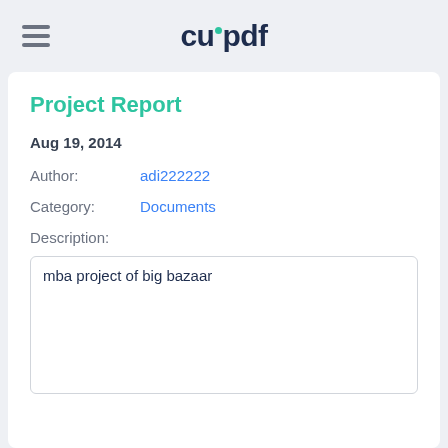cupdf
Project Report
Aug 19, 2014
Author: adi222222
Category: Documents
Description:
mba project of big bazaar